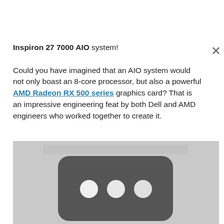Inspiron 27 7000 AIO system! Could you have imagined that an AIO system would not only boast an 8-core processor, but also a powerful AMD Radeon RX 500 series graphics card? That is an impressive engineering feat by both Dell and AMD engineers who worked together to create it.
[Figure (photo): Grayscale photo showing a dark rounded-rectangle card or device with three white circular dots/holes on its face, on a light gray background.]